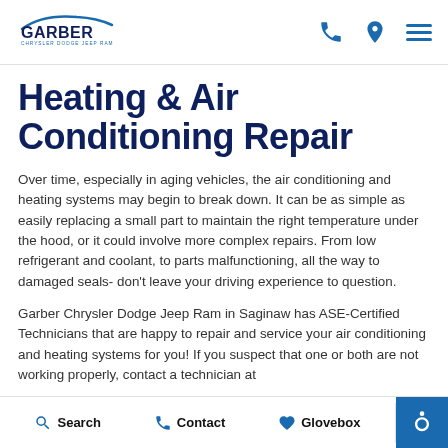Garber Chrysler Dodge Jeep Ram
Heating & Air Conditioning Repair
Over time, especially in aging vehicles, the air conditioning and heating systems may begin to break down. It can be as simple as easily replacing a small part to maintain the right temperature under the hood, or it could involve more complex repairs. From low refrigerant and coolant, to parts malfunctioning, all the way to damaged seals- don't leave your driving experience to question.
Garber Chrysler Dodge Jeep Ram in Saginaw has ASE-Certified Technicians that are happy to repair and service your air conditioning and heating systems for you! If you suspect that one or both are not working properly, contact a technician at
Search   Contact   Glovebox